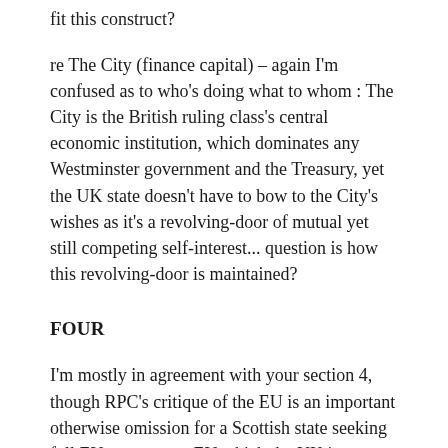fit this construct?
re The City (finance capital) – again I'm confused as to who's doing what to whom : The City is the British ruling class's central economic institution, which dominates any Westminster government and the Treasury, yet the UK state doesn't have to bow to the City's wishes as it's a revolving-door of mutual yet still competing self-interest... question is how this revolving-door is maintained?
FOUR
I'm mostly in agreement with your section 4, though RPC's critique of the EU is an important otherwise omission for a Scottish state seeking full EU entry — an EU which the UK is not an aside to nor is corporate capital, these are all intertwined in their mutual development /